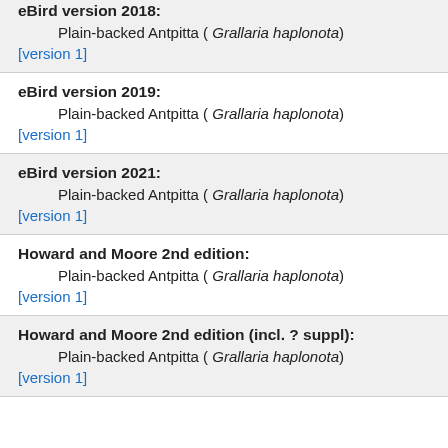eBird version 2018:
Plain-backed Antpitta ( Grallaria haplonota)
[version 1]
eBird version 2019:
Plain-backed Antpitta ( Grallaria haplonota)
[version 1]
eBird version 2021:
Plain-backed Antpitta ( Grallaria haplonota)
[version 1]
Howard and Moore 2nd edition:
Plain-backed Antpitta ( Grallaria haplonota)
[version 1]
Howard and Moore 2nd edition (incl. ? suppl):
Plain-backed Antpitta ( Grallaria haplonota)
[version 1]